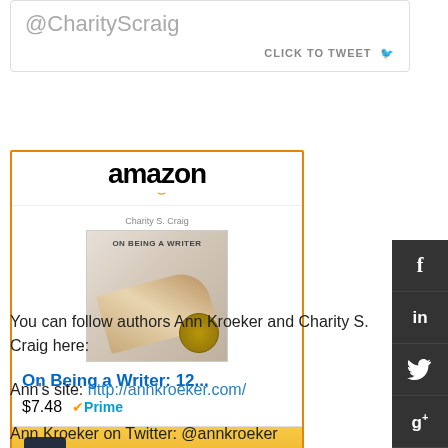@CharityScraig
CLICK TO TWEET
[Figure (screenshot): Amazon widget showing 'On Being a Writer: 12...' book for $7.48 with Prime, with Shop now button]
You can follow authors Ann Kroeker and Charity S. Craig here:
Ann's site: http://annkroeker.com/
Ann Kroeker on Twitter: @annkroeker